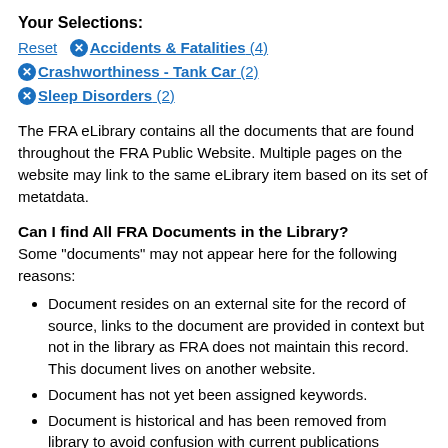Your Selections:
Reset  ✕ Accidents & Fatalities (4)  ✕ Crashworthiness - Tank Car (2)  ✕ Sleep Disorders (2)
The FRA eLibrary contains all the documents that are found throughout the FRA Public Website. Multiple pages on the website may link to the same eLibrary item based on its set of metatdata.
Can I find All FRA Documents in the Library?
Some "documents" may not appear here for the following reasons:
Document resides on an external site for the record of source, links to the document are provided in context but not in the library as FRA does not maintain this record. This document lives on another website.
Document has not yet been assigned keywords.
Document is historical and has been removed from library to avoid confusion with current publications